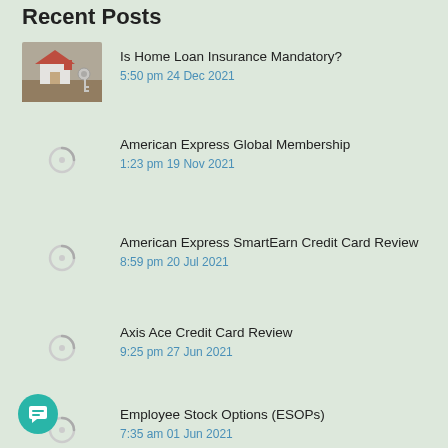Recent Posts
Is Home Loan Insurance Mandatory?
5:50 pm 24 Dec 2021
American Express Global Membership
1:23 pm 19 Nov 2021
American Express SmartEarn Credit Card Review
8:59 pm 20 Jul 2021
Axis Ace Credit Card Review
9:25 pm 27 Jun 2021
Employee Stock Options (ESOPs)
7:35 am 01 Jun 2021